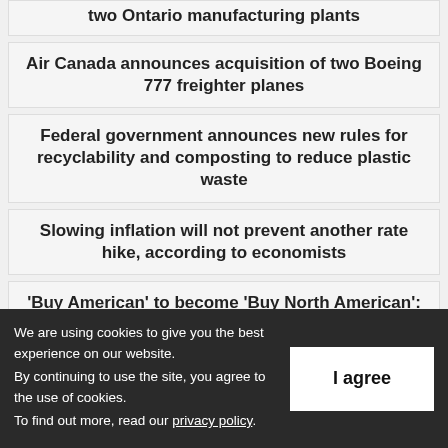two Ontario manufacturing plants
Air Canada announces acquisition of two Boeing 777 freighter planes
Federal government announces new rules for recyclability and composting to reduce plastic waste
Slowing inflation will not prevent another rate hike, according to economists
'Buy American' to become 'Buy North American': U.S. deal amends EV tax credits to include Canada
We are using cookies to give you the best experience on our website.
By continuing to use the site, you agree to the use of cookies.
To find out more, read our privacy policy.